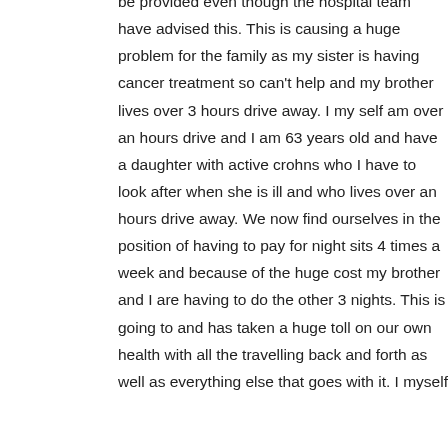be provided even though the hospital team have advised this. This is causing a huge problem for the family as my sister is having cancer treatment so can't help and my brother lives over 3 hours drive away. I my self am over an hours drive and I am 63 years old and have a daughter with active crohns who I have to look after when she is ill and who lives over an hours drive away. We now find ourselves in the position of having to pay for night sits 4 times a week and because of the huge cost my brother and I are having to do the other 3 nights. This is going to and has taken a huge toll on our own health with all the travelling back and forth as well as everything else that goes with it. I myself